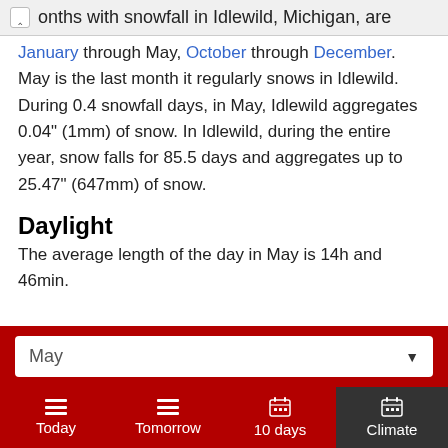onths with snowfall in Idlewild, Michigan, are
January through May, October through December. May is the last month it regularly snows in Idlewild. During 0.4 snowfall days, in May, Idlewild aggregates 0.04" (1mm) of snow. In Idlewild, during the entire year, snow falls for 85.5 days and aggregates up to 25.47" (647mm) of snow.
Daylight
The average length of the day in May is 14h and 46min.
May ▼
Today  Tomorrow  10 days  Climate